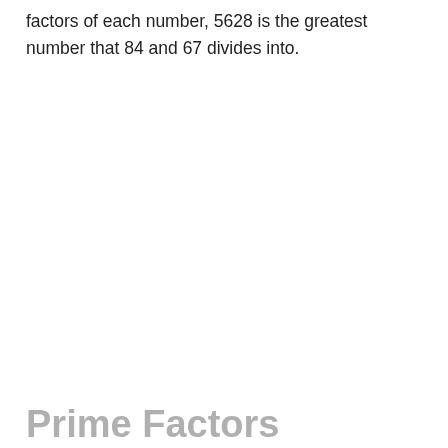factors of each number, 5628 is the greatest number that 84 and 67 divides into.
Prime Factors